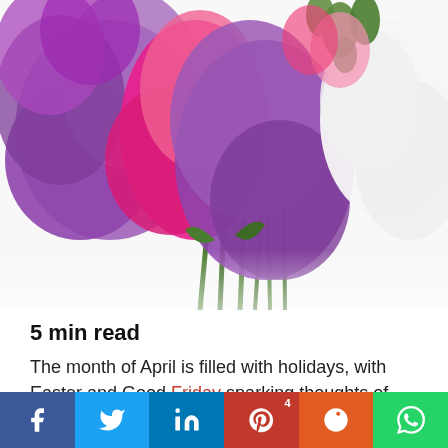[Figure (photo): Bouquet of colorful sweet pea flowers — purple, pink, magenta, and white — on a white background, stems visible at bottom center.]
5 min read
The month of April is filled with holidays, with Easter and Good Friday sparking thoughts of renewal and hope. Families gather to celebrate and give thanks for all that the year has brought them, but no one celebrates more than those who happen to have their
f  Twitter  in  4 Pinterest  Reddit  WhatsApp